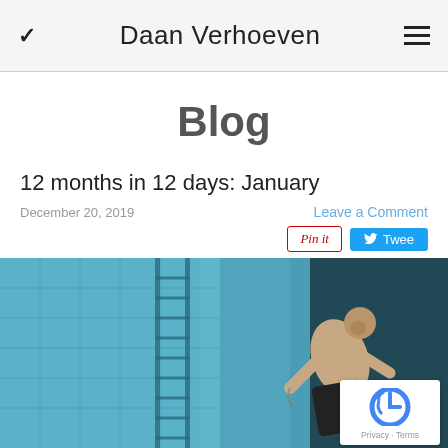Daan Verhoeven
Blog
12 months in 12 days: January
December 20, 2019
Leave a Comment
Pin it  Tweet
[Figure (photo): A shirtless tattooed man climbing or descending a ladder in a deep pool or underwater structure, viewed from above, with teal-blue walls.]